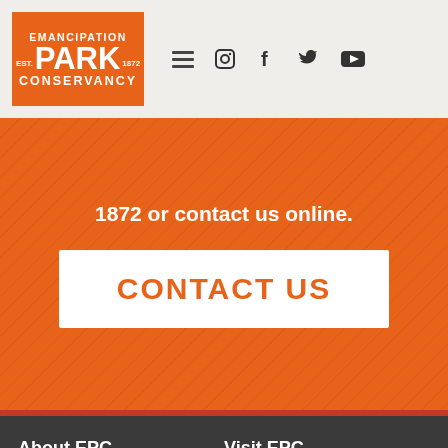[Figure (logo): Emancipation Park Conservancy logo — orange rectangle with white bold text reading EMANCIPATION PARK EST. 1872 CONSERVANCY]
Emancipation Park Conservancy website header with hamburger menu and social icons (Instagram, Facebook, Twitter, YouTube)
1872 or contact us online.
CONTACT US
About EPC
About EPC
Programs
Special Events
Volunteer
Visit EPC
Rentals
Rules & Safety
Parking Information
FAQs